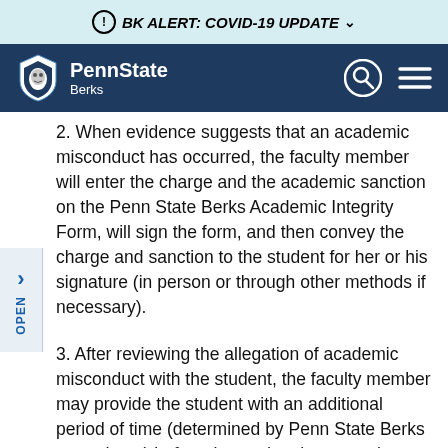ⓘ BK ALERT: COVID-19 UPDATE ˅
PennState Berks
2. When evidence suggests that an academic misconduct has occurred, the faculty member will enter the charge and the academic sanction on the Penn State Berks Academic Integrity Form, will sign the form, and then convey the charge and sanction to the student for her or his signature (in person or through other methods if necessary).
3. After reviewing the allegation of academic misconduct with the student, the faculty member may provide the student with an additional period of time (determined by Penn State Berks procedures) before the student has to make a